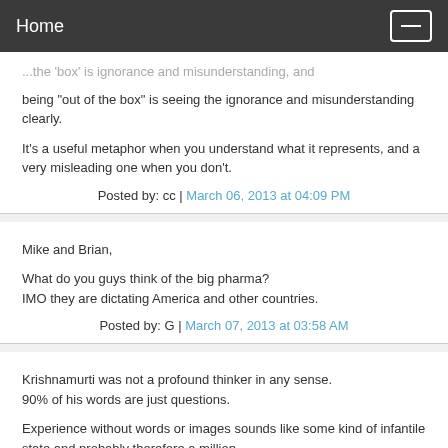Home
...the 'box' is ignorance and misunderstanding, and being "out of the box" is seeing the ignorance and misunderstanding clearly.
It's a useful metaphor when you understand what it represents, and a very misleading one when you don't.
Posted by: cc | March 06, 2013 at 04:09 PM
Mike and Brian,
What do you guys think of the big pharma?
IMO they are dictating America and other countries.
Posted by: G | March 07, 2013 at 03:58 AM
Krishnamurti was not a profound thinker in any sense.
90% of his words are just questions.
Experience without words or images sounds like some kind of infantile state and probably therefore a million...